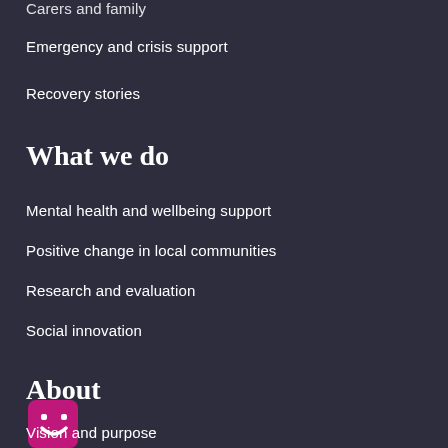Carers and family
Emergency and crisis support
Recovery stories
What we do
Mental health and wellbeing support
Positive change in local communities
Research and evaluation
Social innovation
About
[Figure (logo): Pink/magenta rounded square logo with smiley face icon and downward pointing speech bubble triangle]
Vision and purpose